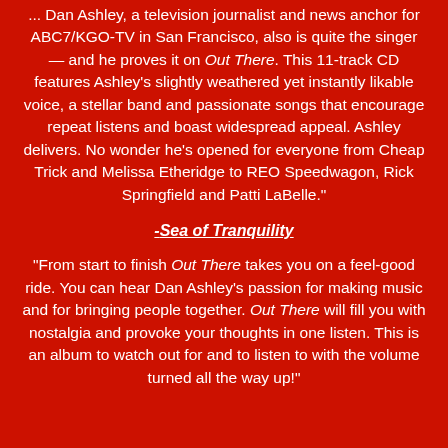... Dan Ashley, a television journalist and news anchor for ABC7/KGO-TV in San Francisco, also is quite the singer — and he proves it on Out There. This 11-track CD features Ashley's slightly weathered yet instantly likable voice, a stellar band and passionate songs that encourage repeat listens and boast widespread appeal. Ashley delivers. No wonder he's opened for everyone from Cheap Trick and Melissa Etheridge to REO Speedwagon, Rick Springfield and Patti LaBelle."
-Sea of Tranquility
"From start to finish Out There takes you on a feel-good ride. You can hear Dan Ashley's passion for making music and for bringing people together. Out There will fill you with nostalgia and provoke your thoughts in one listen. This is an album to watch out for and to listen to with the volume turned all the way up!"